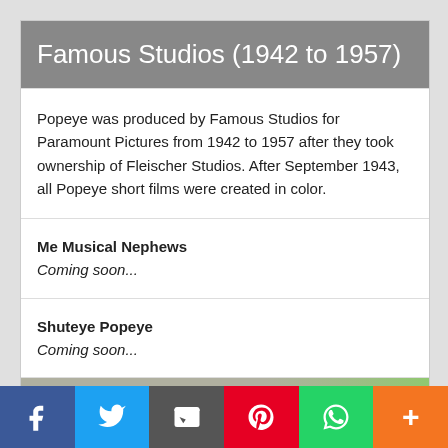Famous Studios (1942 to 1957)
Popeye was produced by Famous Studios for Paramount Pictures from 1942 to 1957 after they took ownership of Fleischer Studios. After September 1943, all Popeye short films were created in color.
Me Musical Nephews
Coming soon...
Shuteye Popeye
Coming soon...
[Figure (screenshot): Partial screenshot of a video or image showing the text 'ATEST' and partial word below on a tan/green background]
f  Twitter  Email  Pinterest  WhatsApp  More